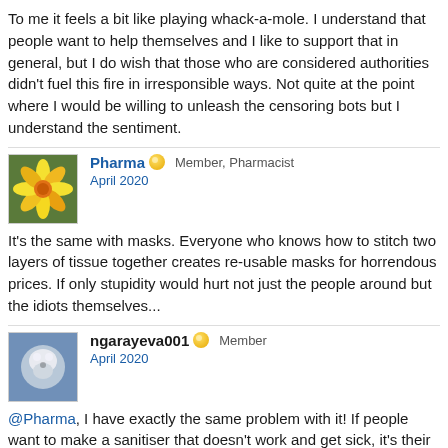To me it feels a bit like playing whack-a-mole. I understand that people want to help themselves and I like to support that in general, but I do wish that those who are considered authorities didn't fuel this fire in irresponsible ways. Not quite at the point where I would be willing to unleash the censoring bots but I understand the sentiment.
[Figure (photo): Avatar photo of Pharma user showing yellow-orange flower]
Pharma  Member, Pharmacist
April 2020
It's the same with masks. Everyone who knows how to stitch two layers of tissue together creates re-usable masks for horrendous prices. If only stupidity would hurt not just the people around but the idiots themselves...
[Figure (photo): Avatar photo of ngarayeva001 user showing white fluffy animal]
ngarayeva001  Member
April 2020
@Pharma, I have exactly the same problem with it! If people want to make a sanitiser that doesn't work and get sick, it's their choice. The problems start when then persuade others to do it.
[Figure (photo): Avatar photo of ngarayeva001 user showing white fluffy animal]
ngarayeva001  Member
April 2020